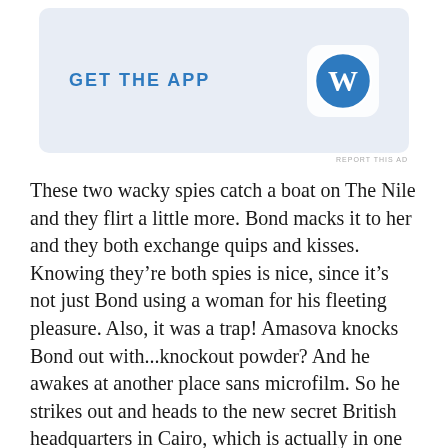[Figure (other): WordPress 'GET THE APP' advertisement banner with WordPress logo (W in a circle) on a light blue background]
REPORT THIS AD
These two wacky spies catch a boat on The Nile and they flirt a little more. Bond macks it to her and they both exchange quips and kisses. Knowing they’re both spies is nice, since it’s not just Bond using a woman for his fleeting pleasure. Also, it was a trap! Amasova knocks Bond out with...knockout powder? And he awakes at another place sans microfilm. So he strikes out and heads to the new secret British headquarters in Cairo, which is actually in one of those historical cultural landmarks because the British have no respect for anywhere else but Trafalgar Square. They even installed track